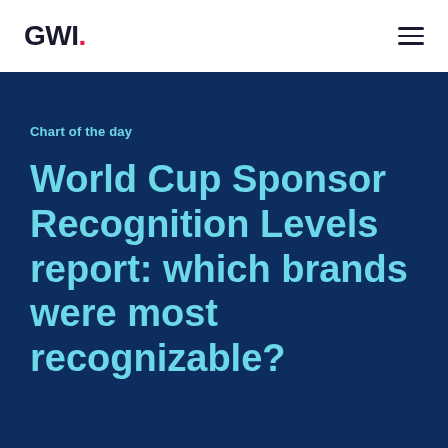GWI.
Chart of the day
World Cup Sponsor Recognition Levels report: which brands were most recognizable?